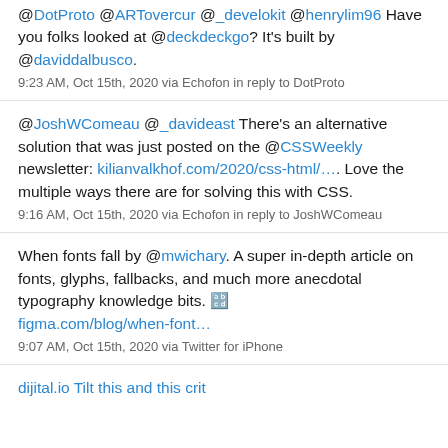@DotProto @ARTovercur @_develokit @henrylim96 Have you folks looked at @deckdeckgo? It's built by @daviddalbusco.
9:23 AM, Oct 15th, 2020 via Echofon in reply to DotProto
@JoshWComeau @_davideast There's an alternative solution that was just posted on the @CSSWeekly newsletter: kilianvalkhof.com/2020/css-html/…. Love the multiple ways there are for solving this with CSS.
9:16 AM, Oct 15th, 2020 via Echofon in reply to JoshWComeau
When fonts fall by @mwichary. A super in-depth article on fonts, glyphs, fallbacks, and much more anecdotal typography knowledge bits. 🔡 figma.com/blog/when-font…
9:07 AM, Oct 15th, 2020 via Twitter for iPhone